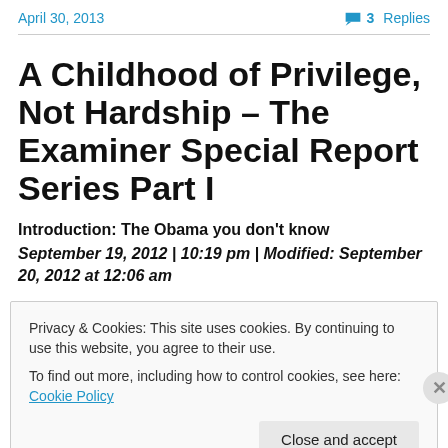April 30, 2013   3 Replies
A Childhood of Privilege, Not Hardship – The Examiner Special Report Series Part I
Introduction: The Obama you don't know
September 19, 2012 | 10:19 pm | Modified: September 20, 2012 at 12:06 am
Privacy & Cookies: This site uses cookies. By continuing to use this website, you agree to their use. To find out more, including how to control cookies, see here: Cookie Policy